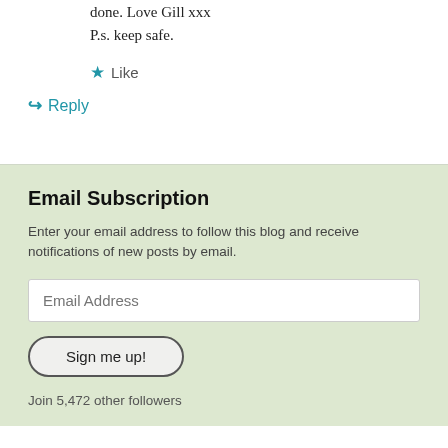done. Love Gill xxx
P.s. keep safe.
★ Like
↪ Reply
Email Subscription
Enter your email address to follow this blog and receive notifications of new posts by email.
Email Address
Sign me up!
Join 5,472 other followers